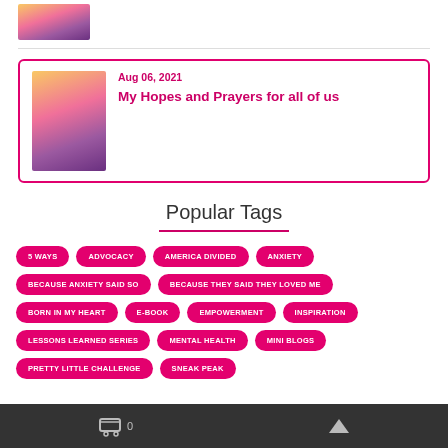[Figure (photo): Partial sunset/sky photo at top of page]
Aug 06, 2021
My Hopes and Prayers for all of us
Popular Tags
5 WAYS
ADVOCACY
AMERICA DIVIDED
ANXIETY
BECAUSE ANXIETY SAID SO
BECAUSE THEY SAID THEY LOVED ME
BORN IN MY HEART
E-BOOK
EMPOWERMENT
INSPIRATION
LESSONS LEARNED SERIES
MENTAL HEALTH
MINI BLOGS
PRETTY LITTLE CHALLENGE
SNEAK PEAK
0 (cart icon) / up arrow